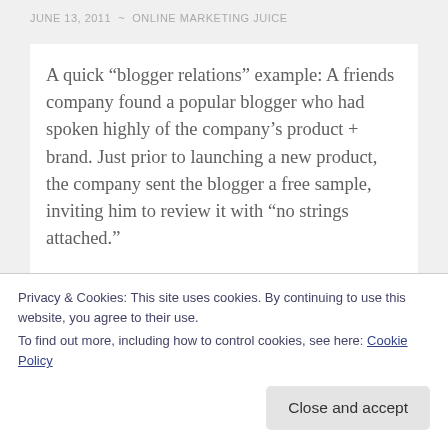JUNE 13, 2011 ~ ONLINE MARKETING JUICE
A quick “blogger relations” example: A friends company found a popular blogger who had spoken highly of the company’s product + brand. Just prior to launching a new product, the company sent the blogger a free sample, inviting him to review it with “no strings attached.”
Long story shot, after a back and forth conversation with the blogger during his review, he (blogger) wrote a
Privacy & Cookies: This site uses cookies. By continuing to use this website, you agree to their use.
To find out more, including how to control cookies, see here: Cookie Policy